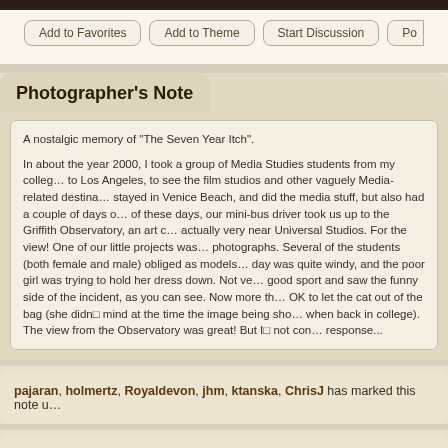[Figure (photo): Partial dark photograph visible at top of page]
Add to Favorites | Add to Theme | Start Discussion | Po...
Photographer's Note
A nostalgic memory of "The Seven Year Itch".

In about the year 2000, I took a group of Media Studies students from my college to Los Angeles, to see the film studios and other vaguely Media-related destinations. We stayed in Venice Beach, and did the media stuff, but also had a couple of days off. One of these days, our mini-bus driver took us up to the Griffith Observatory, an art deco building actually very near Universal Studios. For the view! One of our little projects was to recreate photographs. Several of the students (both female and male) obliged as models. However, the day was quite windy, and the poor girl was trying to hold her dress down. Not very... She was a good sport and saw the funny side of the incident, as you can see. Now more than a decade later, it's OK to let the cat out of the bag (she didn't mind at the time the image being shown in the classroom when back in college). The view from the Observatory was great! But It not com... response...
pajaran, holmertz, Royaldevon, jhm, ktanska, ChrisJ has marked this note u...
...